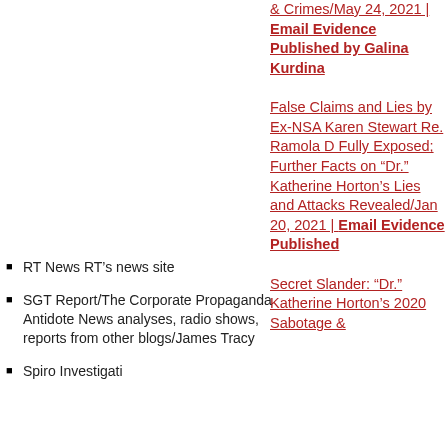& Crimes/May 24, 2021 | Email Evidence Published by Galina Kurdina
False Claims and Lies by Ex-NSA Karen Stewart Re. Ramola D Fully Exposed; Further Facts on “Dr.” Katherine Horton’s Lies and Attacks Revealed/Jan 20, 2021 | Email Evidence Published
Secret Slander: “Dr.” Katherine Horton’s 2020 Sabotage &
RT News RT’s news site
SGT Report/The Corporate Propaganda Antidote News analyses, radio shows, reports from other blogs/James Tracy
Spiro Investigati